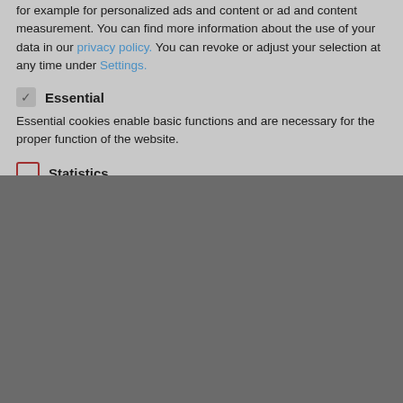for example for personalized ads and content or ad and content measurement. You can find more information about the use of your data in our privacy policy. You can revoke or adjust your selection at any time under Settings.
✓ Essential
Essential cookies enable basic functions and are necessary for the proper function of the website.
☐ Statistics
[Figure (other): Loading spinner made of four teal diamond shapes arranged in a cross/plus pattern on a dark gray background]